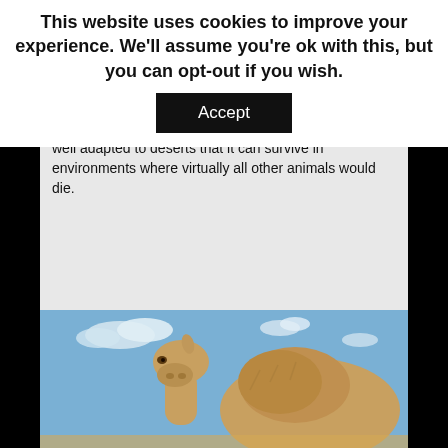This website uses cookies to improve your experience. We'll assume you're ok with this, but you can opt-out if you wish.
Accept
successful species when it comes to adaptation. It has managed to not just survive but thrive in some of the driest, harshest and most extreme conditions on the planet.
How the camel can do this is extraordinary. The natural process of evolution has created a living creature so well adapted to deserts that it can survive in environments where virtually all other animals would die.
[Figure (photo): A camel (dromedary) photographed from the front showing its head and hump, against a partly cloudy blue sky background in a desert setting.]